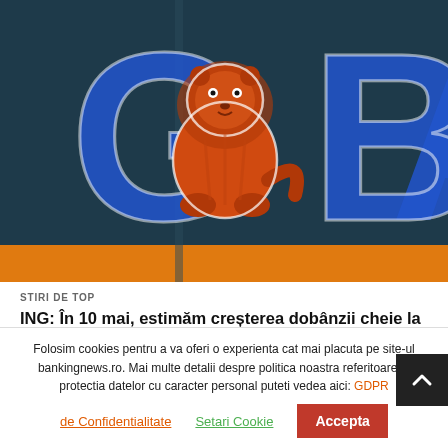[Figure (photo): ING Bank signage showing large blue letters 'G' and 'BA' with an orange lion logo in the center, on a dark teal/navy background with orange accent at bottom]
STIRI DE TOP
ING: În 10 mai, estimăm creșterea dobânzii cheie la 4,00%, dar rămâne cea mai mică din regiune. Banca anticipează un curs valutar stabil și o
Folosim cookies pentru a va oferi o experienta cat mai placuta pe site-ul bankingnews.ro. Mai multe detalii despre politica noastra referitoare la protectia datelor cu caracter personal puteti vedea aici: GDPR
de Confidentialitate
Setari Cookie
Accepta